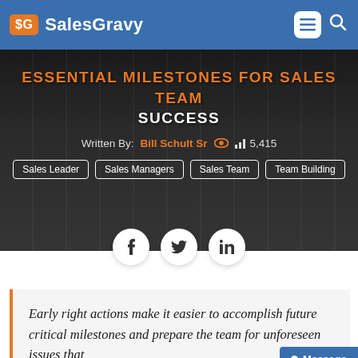$G SalesGravy
ESSENTIAL MILESTONES FOR SALES TEAM SUCCESS
Written By: Bill Schult Sr  👁  5,415
Sales Leader
Sales Managers
Sales Team
Team Building
[Figure (other): Social share buttons: Facebook (f), Twitter (bird icon), LinkedIn (in)]
Early right actions make it easier to accomplish future critical milestones and prepare the team for unforeseen issues that